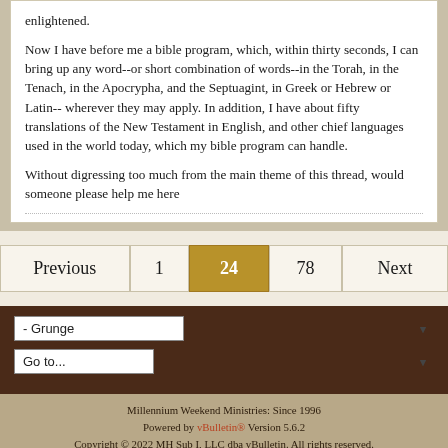enlightened.

Now I have before me a bible program, which, within thirty seconds, I can bring up any word--or short combination of words--in the Torah, in the Tenach, in the Apocrypha, and the Septuagint, in Greek or Hebrew or Latin-- wherever they may apply. In addition, I have about fifty translations of the New Testament in English, and other chief languages used in the world today, which my bible program can handle.

Without digressing too much from the main theme of this thread, would someone please help me here
Previous  1  24  78  Next
- Grunge
Go to...
Millennium Weekend Ministries: Since 1996
Powered by vBulletin® Version 5.6.2
Copyright © 2022 MH Sub I, LLC dba vBulletin. All rights reserved.
All times are GMT-6. This page was generated at 06:45 PM.